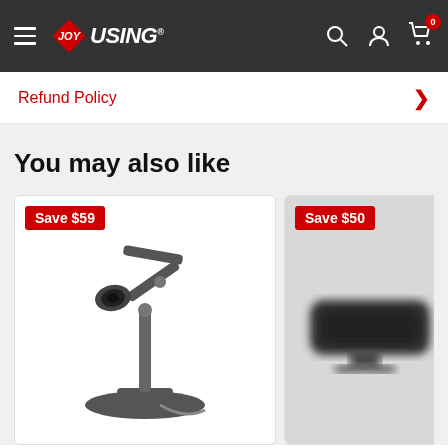JOYUSING — navigation header with hamburger menu, logo, search, account, and cart (0 items)
Refund Policy
You may also like
[Figure (photo): Product card showing a document camera on a desk stand with articulated arm, with 'Save $59' badge]
[Figure (photo): Product card showing a portable device (blurred), with 'Save $50' badge]